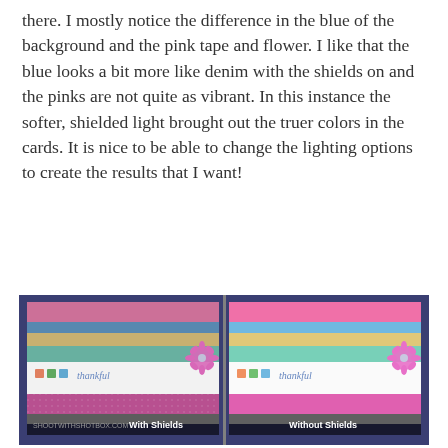there. I mostly notice the difference in the blue of the background and the pink tape and flower. I like that the blue looks a bit more like denim with the shields on and the pinks are not quite as vibrant. In this instance the softer, shielded light brought out the truer colors in the cards. It is nice to be able to change the lighting options to create the results that I want!
[Figure (photo): Two side-by-side photos of handmade greeting cards decorated with colorful washi tape stripes and a pink flower embellishment. Left photo labeled 'With Shields', right labeled 'Without Shields'. The cards show horizontal stripes of pink, blue, yellow, teal, white (with teacup stamps and 'thankful' script), and glitter pink tape, set against a denim-blue background.]